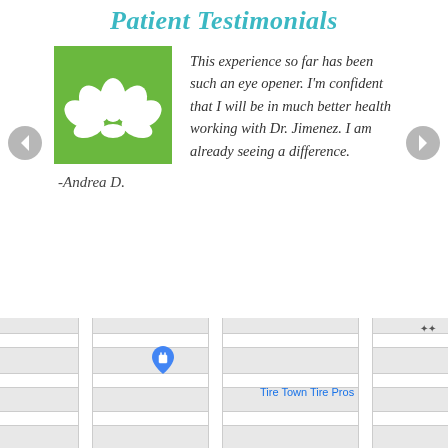Patient Testimonials
[Figure (illustration): Green square with white lotus flower icon]
This experience so far has been such an eye opener. I’m confident that I will be in much better health working with Dr. Jimenez. I am already seeing a difference.
-Andrea D.
[Figure (map): Google Maps partial view showing streets, location pins for shopping bags, Tire Town Tire Pros label, and Leah Villegas Licensed Real Estate Salesperson pin]